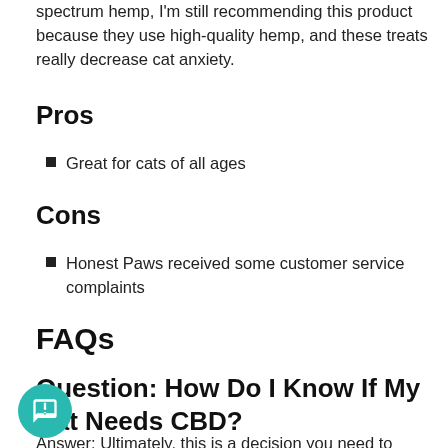spectrum hemp, I'm still recommending this product because they use high-quality hemp, and these treats really decrease cat anxiety.
Pros
Great for cats of all ages
Cons
Honest Paws received some customer service complaints
FAQs
Question: How Do I Know If My Cat Needs CBD?
Answer: Ultimately, this is a decision you need to make